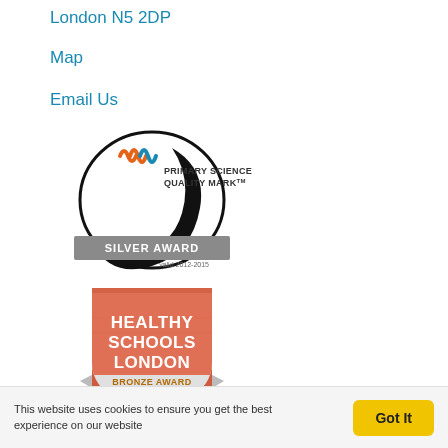London N5 2DP
Map
Email Us
[Figure (logo): Primary Science Quality Mark Silver Award logo - circular design with orange and blue wave marks, text PRIMARY SCIENCE QUALITY MARK TM, SILVER AWARD badge, valid 2012-2015]
[Figure (logo): Healthy Schools London Bronze Award badge - shield shape in salmon/orange color with white text HEALTHY SCHOOLS LONDON and ribbon banner BRONZE AWARD]
This website uses cookies to ensure you get the best experience on our website
Got It